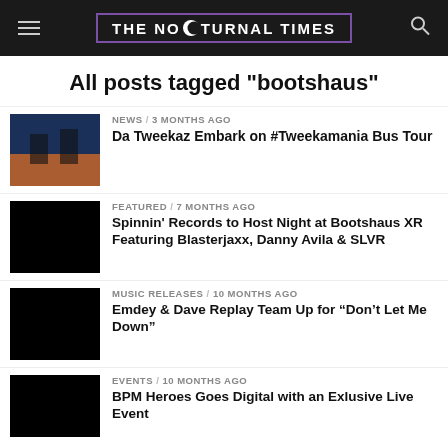THE NOCTURNAL TIMES
All posts tagged "bootshaus"
NEWS / 3 months ago — Da Tweekaz Embark on #Tweekamania Bus Tour
FEATURED / 7 months ago — Spinnin' Records to Host Night at Bootshaus XR Featuring Blasterjaxx, Danny Avila & SLVR
MUSIC RELEASES / 10 months ago — Emdey & Dave Replay Team Up for “Don’t Let Me Down”
EVENTS / 10 months ago — BPM Heroes Goes Digital with an Exlusive Live Event